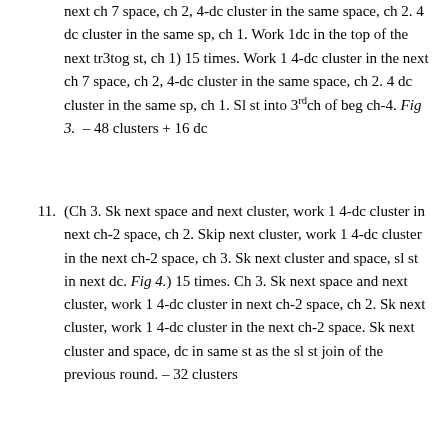next ch 7 space, ch 2, 4-dc cluster in the same space, ch 2. 4 dc cluster in the same sp, ch 1. Work 1dc in the top of the next tr3tog st, ch 1) 15 times. Work 1 4-dc cluster in the next ch 7 space, ch 2, 4-dc cluster in the same space, ch 2. 4 dc cluster in the same sp, ch 1. Sl st into 3rd ch of beg ch-4. Fig 3. – 48 clusters + 16 dc
(Ch 3. Sk next space and next cluster, work 1 4-dc cluster in next ch-2 space, ch 2. Skip next cluster, work 1 4-dc cluster in the next ch-2 space, ch 3. Sk next cluster and space, sl st in next dc. Fig 4.) 15 times. Ch 3. Sk next space and next cluster, work 1 4-dc cluster in next ch-2 space, ch 2. Sk next cluster, work 1 4-dc cluster in the next ch-2 space. Sk next cluster and space, dc in same st as the sl st join of the previous round. – 32 clusters